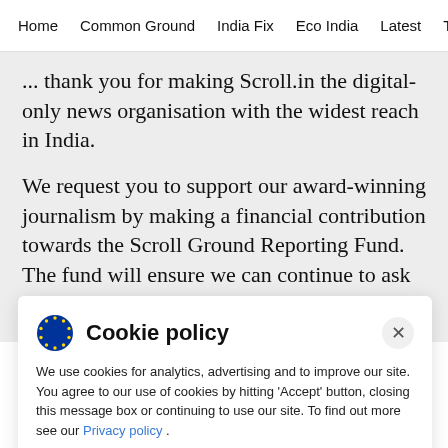Home  Common Ground  India Fix  Eco India  Latest  Th
... thank you for making Scroll.in the digital-only news organisation with the widest reach in India.
We request you to support our award-winning journalism by making a financial contribution towards the Scroll Ground Reporting Fund. The fund will ensure we can continue to ask the questions that need to be asked, investigate what
Cookie policy
We use cookies for analytics, advertising and to improve our site. You agree to our use of cookies by hitting 'Accept' button, closing this message box or continuing to use our site. To find out more see our Privacy policy .